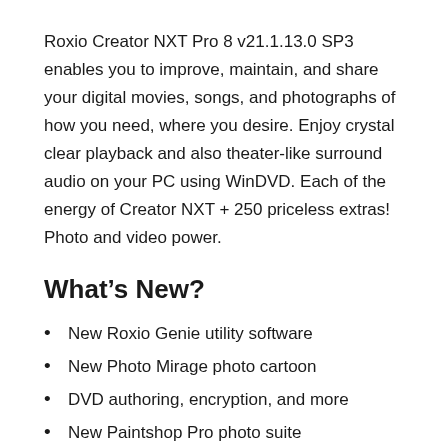Roxio Creator NXT Pro 8 v21.1.13.0 SP3 enables you to improve, maintain, and share your digital movies, songs, and photographs of how you need, where you desire. Enjoy crystal clear playback and also theater-like surround audio on your PC using WinDVD. Each of the energy of Creator NXT + 250 priceless extras! Photo and video power.
What’s New?
New Roxio Genie utility software
New Photo Mirage photo cartoon
DVD authoring, encryption, and more
New Paintshop Pro photo suite
Other bug fixes and improvements